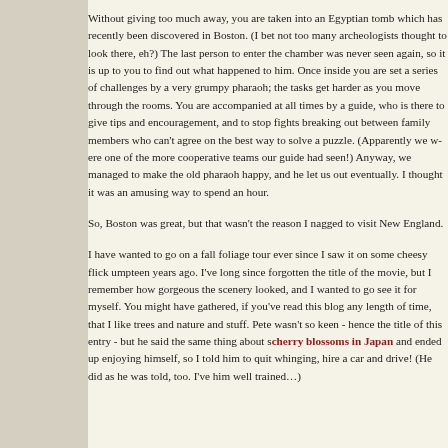Without giving too much away, you are taken into an Egyptian tomb which has recently been discovered in Boston. (I bet not too many archeologists thought to look there, eh?) The last person to enter the chamber was never seen again, so it is up to you to find out what happened to him. Once inside you are set a series of challenges by a very grumpy pharaoh; the tasks get harder as you move through the rooms. You are accompanied at all times by a guide, who is there to give tips and encouragement, and to stop fights breaking out between family members who can't agree on the best way to solve a puzzle. (Apparently we were one of the more cooperative teams our guide had seen!) Anyway, we managed to make the old pharaoh happy, and he let us out eventually. I thought it was an amusing way to spend an hour.
So, Boston was great, but that wasn't the reason I nagged to visit New England.
I have wanted to go on a fall foliage tour ever since I saw it on some cheesy flick umpteen years ago. I've long since forgotten the title of the movie, but I remember how gorgeous the scenery looked, and I wanted to go see it for myself. You might have gathered, if you've read this blog any length of time, that I like trees and nature and stuff. Pete wasn't so keen - hence the title of this entry - but he said the same thing about seeing cherry blossoms in Japan and ended up enjoying himself, so I told him to quit whinging, hire a car and drive! (He did as he was told, too. I've him well trained…)